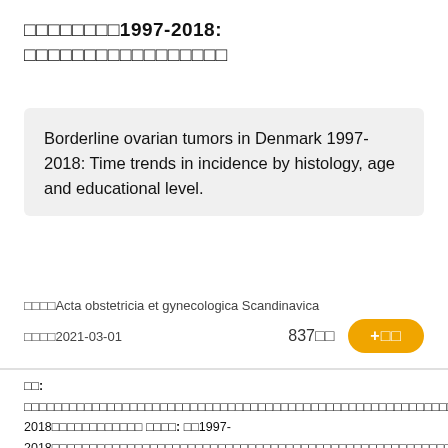卵巢交界性肿瘤1997-2018: 发病率的组织学、年龄和教育水平趋势
Borderline ovarian tumors in Denmark 1997-2018: Time trends in incidence by histology, age and educational level.
期刊：Acta obstetricia et gynecologica Scandinavica 日期：2021-03-01
837阅 +阅
目的: 描述丹麦交界性卵巢肿瘤的发病率趋势，考虑到1997-2018年的组织学亚型 方法: 在1997-2018年间所有丹麦女性中，我们评估了以人口为基础的系列交界性卵巢肿瘤（BOT）病例的发病率，并计算了95% 置信 (ci)。 结果: 共有2037例病例，其中1897例（50.8%）子宫浆液性和1743例（44...